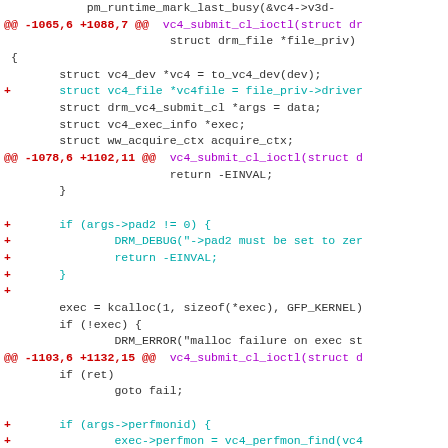[Figure (screenshot): A unified diff / code patch view showing changes to a C source file (vc4 DRM driver). Lines show hunk headers in red, added lines in cyan/teal prefixed with '+', and context lines in dark gray. The diff covers vc4_submit_cl_ioctl function modifications adding vc4file, pad2 check, and perfmon lookup code.]